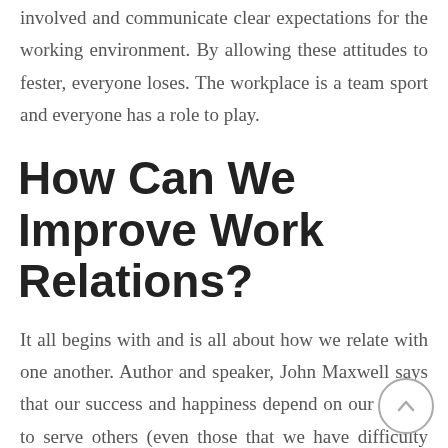involved and communicate clear expectations for the working environment. By allowing these attitudes to fester, everyone loses. The workplace is a team sport and everyone has a role to play.
How Can We Improve Work Relations?
It all begins with and is all about how we relate with one another. Author and speaker, John Maxwell says that our success and happiness depend on our ability to serve others (even those that we have difficulty relating to). It really is